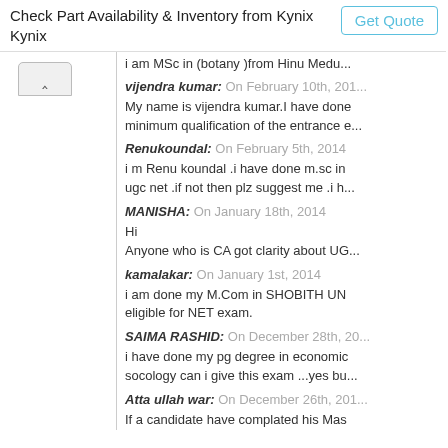Check Part Availability & Inventory from Kynix Kynix
I am MSc in (botany )from Hinu Medu...
vijendra kumar: On February 10th, 2014
My name is vijendra kumar.I have done minimum qualification of the entrance e...
Renukoundal: On February 5th, 2014
i m Renu koundal .i have done m.sc in ugc net .if not then plz suggest me .i h...
MANISHA: On January 18th, 2014
Hi
Anyone who is CA got clarity about UG...
kamalakar: On January 1st, 2014
i am done my M.Com in SHOBITH UN eligible for NET exam.
SAIMA RASHID: On December 28th, 20...
i have done my pg degree in economic socology can i give this exam ...yes bu...
Atta ullah war: On December 26th, 201...
If a candidate have complated his Mas exam.